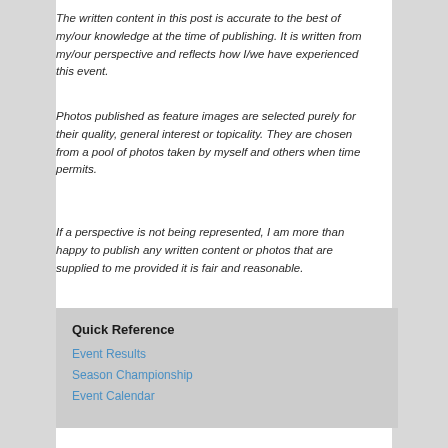The written content in this post is accurate to the best of my/our knowledge at the time of publishing. It is written from my/our perspective and reflects how I/we have experienced this event.
Photos published as feature images are selected purely for their quality, general interest or topicality. They are chosen from a pool of photos taken by myself and others when time permits.
If a perspective is not being represented, I am more than happy to publish any written content or photos that are supplied to me provided it is fair and reasonable.
Quick Reference
Event Results
Season Championship
Event Calendar